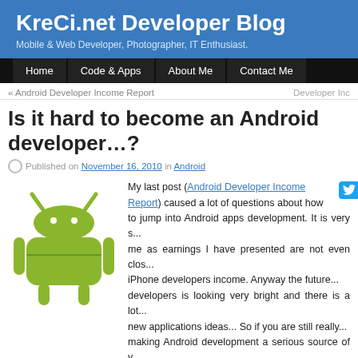KreCi.net Developer Blog
Mobile & Web Developer, Photographer, IT Enthusiast.
Home
Code & Apps
About Me
Contact Me
« Android Developer Income Report | Developer Inc...
Is it hard to become an Android developer…?
Published on November 16, 2010 in Android
[Figure (illustration): Android robot mascot logo in green]
My last post (Android Developer Income Report) caused a lot of questions about how to jump into Android apps development. It is very s... me as earnings I have presented are not even clos... iPhone developers income. Anyway the future... developers is looking very bright and there is a lot... new applications ideas... So if you are still really... making Android development a serious source of y... income this post may be helpful as a starting point... Here are statements I have started to develop for Android.